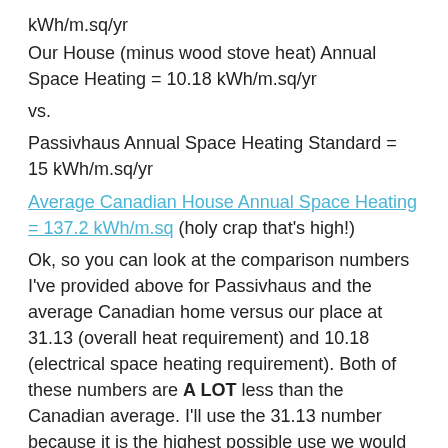kWh/m.sq/yr
Our House (minus wood stove heat) Annual Space Heating = 10.18 kWh/m.sq/yr
vs.
Passivhaus Annual Space Heating Standard = 15 kWh/m.sq/yr
Average Canadian House Annual Space Heating = 137.2 kWh/m.sq (holy crap that's high!)
Ok, so you can look at the comparison numbers I've provided above for Passivhaus and the average Canadian home versus our place at 31.13 (overall heat requirement) and 10.18 (electrical space heating requirement). Both of these numbers are A LOT less than the Canadian average. I'll use the 31.13 number because it is the highest possible use we would need in an extremely cold year without using any wood heat. That is 77.3% less than the average house in Canada! Pretty awesome! And yet, it is twice as high as the Passivhaus standard!!
I'll remind you that we are using the following: R100